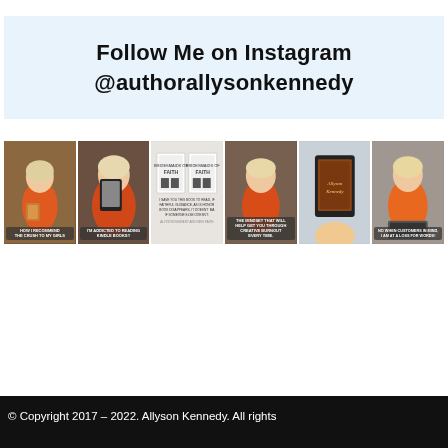Follow Me on Instagram @authorallysonkennedy
[Figure (photo): A horizontal strip of 6 Instagram-style photos showing a woman in orange top holding a book, a woman selfie holding a phone/ereader, a flat lay of a book 'Bridesmaids of Faith', a woman in orange with a quote overlay, a hand holding a Kindle displaying a book cover, and a woman at a laptop with a quote overlay]
© Copyright 2017 – 2022. Allyson Kennedy. All rights